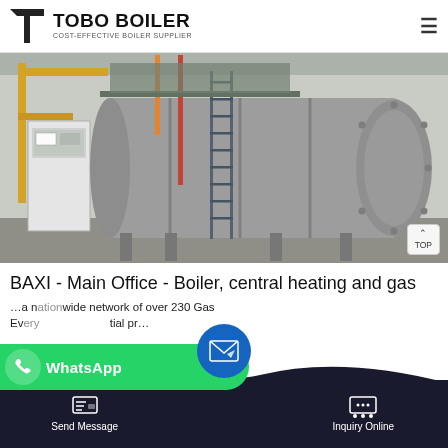TOBO BOILER — COST-EFFECTIVE BOILER SUPPLIER
[Figure (photo): Industrial boiler installation in a factory setting. A large horizontal cylindrical gray boiler tank with flanged end, supported on legs, with a metal access ladder, red and orange piping, and a white control cabinet on the left side.]
BAXI - Main Office - Boiler, central heating and gas
…a nationwide network of over 230 Gas…Every…ential pr…
Send Message | Inquiry Online